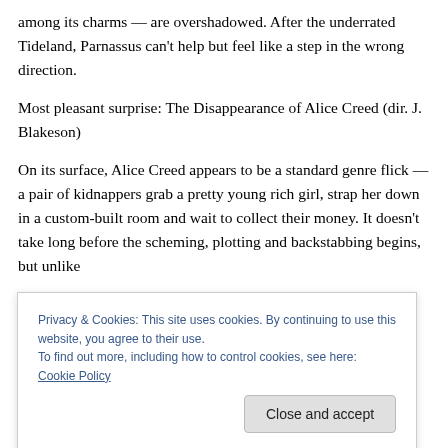among its charms — are overshadowed. After the underrated Tideland, Parnassus can't help but feel like a step in the wrong direction.
Most pleasant surprise: The Disappearance of Alice Creed (dir. J. Blakeson)
On its surface, Alice Creed appears to be a standard genre flick — a pair of kidnappers grab a pretty young rich girl, strap her down in a custom-built room and wait to collect their money. It doesn't take long before the scheming, plotting and backstabbing begins, but unlike
Privacy & Cookies: This site uses cookies. By continuing to use this website, you agree to their use.
To find out more, including how to control cookies, see here: Cookie Policy
Blakeson's impressive debut maintains the tension